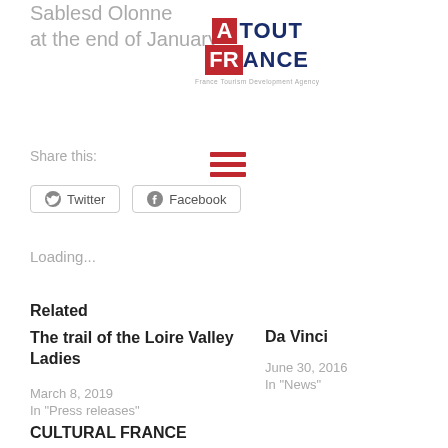Sablesd Olonne
at the end of January
[Figure (logo): Atout France - France Tourism Development Agency logo]
[Figure (other): Red hamburger menu icon (three horizontal bars)]
Share this:
Twitter  Facebook
Loading...
Related
The trail of the Loire Valley Ladies
March 8, 2019
In "Press releases"
Da Vinci
June 30, 2016
In "News"
CULTURAL FRANCE
March 6, 2017
In "FTMA 2017"